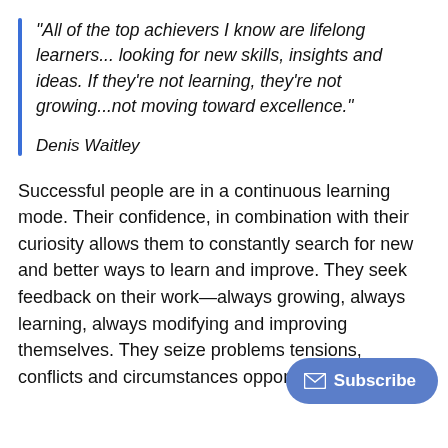“All of the top achievers I know are lifelong learners... looking for new skills, insights and ideas. If they’re not learning, they’re not growing...not moving toward excellence.”
Denis Waitley
Successful people are in a continuous learning mode. Their confidence, in combination with their curiosity allows them to constantly search for new and better ways to learn and improve. They seek feedback on their work—always growing, always learning, always modifying and improving themselves. They seize problems tensions, conflicts and circumstances opportunities to learn.